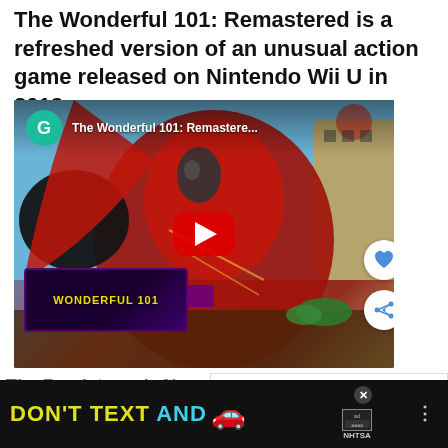The Wonderful 101: Remastered is a refreshed version of an unusual action game released on Nintendo Wii U in 2013
[Figure (screenshot): YouTube video thumbnail for 'The Wonderful 101: Remastered...' showing a game character in red armor. A teal avatar with 'G' and the video title are shown in the top bar. A red play button is centered. The Wonderful 101 Remastered logo is in the lower left. Heart and share buttons appear on the right side.]
The Persistence's Non-VR Version
WHAT'S NEXT → Forza Horizon 5: Premium...
[Figure (screenshot): Advertisement banner: 'DON'T TEXT AND' with a red car emoji and NHTSA logo on a dark background. An X close button and dots icon appear on the right.]